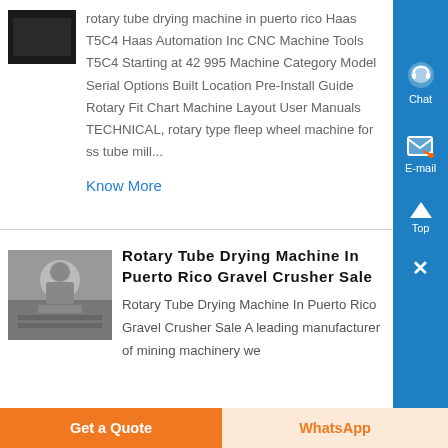rotary tube drying machine in puerto rico Haas T5C4 Haas Automation Inc CNC Machine Tools T5C4 Starting at 42 995 Machine Category Model Serial Options Built Location Pre-Install Guide Rotary Fit Chart Machine Layout User Manuals TECHNICAL, rotary type fleep wheel machine for ss tube mill...
Know More
Rotary Tube Drying Machine In Puerto Rico Gravel Crusher Sale
Rotary Tube Drying Machine In Puerto Rico Gravel Crusher Sale A leading manufacturer of mining machinery we
Get a Quote
WhatsApp